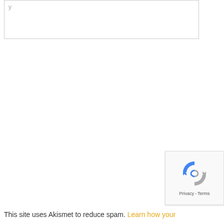[Figure (other): A text input/comment box with a border, partially visible at the top of the page]
[Figure (other): reCAPTCHA badge widget in the bottom right corner with the reCAPTCHA logo and Privacy/Terms links]
This site uses Akismet to reduce spam. Learn how your